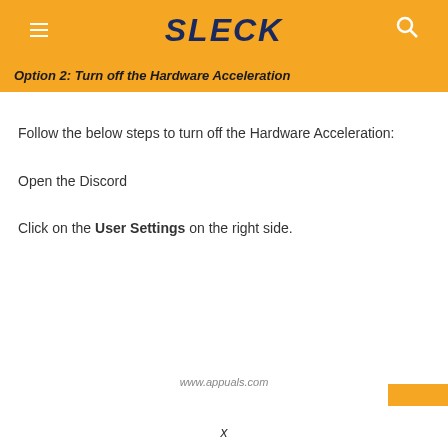SLECK
Option 2: Turn off the Hardware Acceleration
Follow the below steps to turn off the Hardware Acceleration:
Open the Discord
Click on the User Settings on the right side.
www.appuals.com